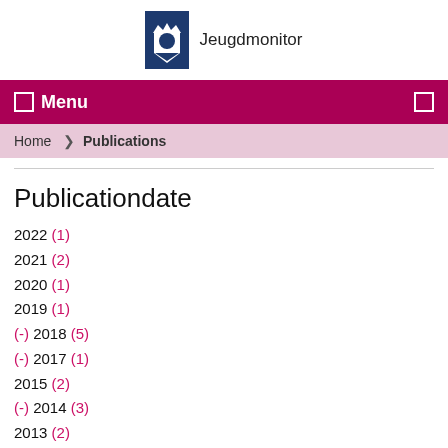Jeugdmonitor
≡ Menu
Home ❯ Publications
Publicationdate
2022 (1)
2021 (2)
2020 (1)
2019 (1)
(-) 2018 (5)
(-) 2017 (1)
2015 (2)
(-) 2014 (3)
2013 (2)
2011 (2)